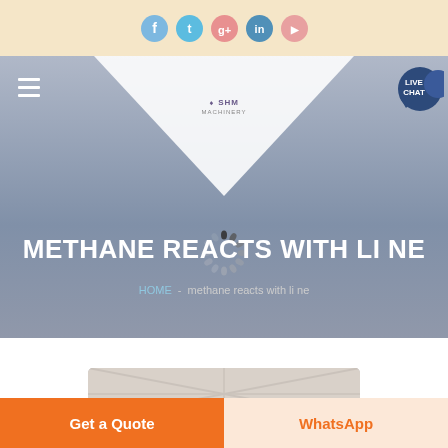Social media icons: Facebook, Twitter, Google+, LinkedIn, YouTube
[Figure (screenshot): Website header with hamburger menu, SHM logo in white triangle, live chat bubble, hero banner with title METHANE REACTS WITH LI NE and breadcrumb HOME - methane reacts with li ne, loading spinner overlay]
METHANE REACTS WITH LI NE
HOME  -  methane reacts with li ne
[Figure (photo): Partial image of industrial structure visible at bottom of page]
Get a Quote
WhatsApp